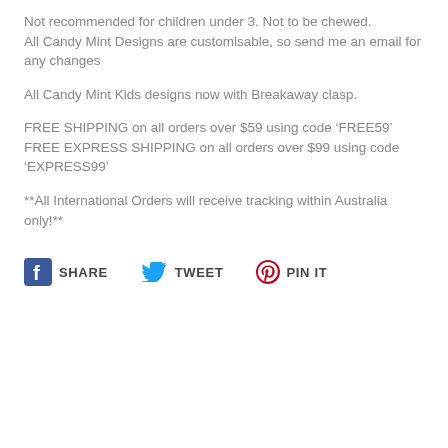Not recommended for children under 3. Not to be chewed.
All Candy Mint Designs are customisable, so send me an email for any changes
All Candy Mint Kids designs now with Breakaway clasp.
FREE SHIPPING on all orders over $59 using code ‘FREE59’
FREE EXPRESS SHIPPING on all orders over $99 using code ‘EXPRESS99’
**All International Orders will receive tracking within Australia only!**
[Figure (infographic): Social sharing bar with Facebook SHARE, Twitter TWEET, and Pinterest PIN IT buttons]